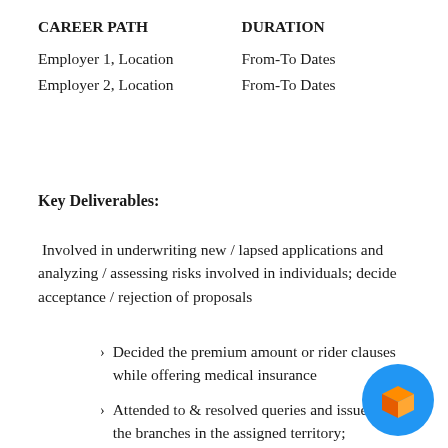| CAREER PATH | DURATION |
| --- | --- |
| Employer 1, Location | From-To Dates |
| Employer 2, Location | From-To Dates |
Key Deliverables:
Involved in underwriting new / lapsed applications and analyzing / assessing risks involved in individuals; decide acceptance / rejection of proposals
Decided the premium amount or rider clauses while offering medical insurance
Attended to & resolved queries and issues for the branches in the assigned territory; co-ordinated with the branches across the country